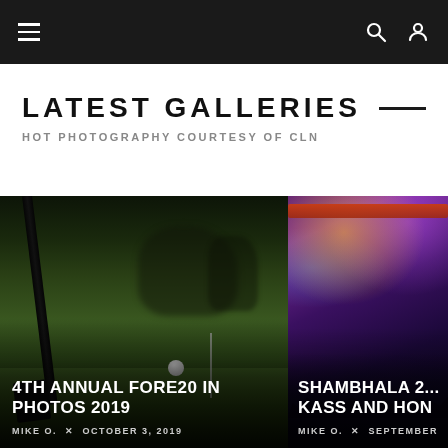Navigation bar with hamburger menu, search icon, and user icon
LATEST GALLERIES
HOT PHOTOGRAPHY COURTESY OF CLN
[Figure (photo): Night golf photo showing a close-up of a golf putter and ball on a green, with blurred figures in background. Caption: 4TH ANNUAL FORE20 IN PHOTOS 2019, MIKE O. × OCTOBER 3, 2019]
[Figure (photo): Concert/festival photo showing crowd with stage lights and truss structure visible. Caption: SHAMBHALA 2... KASS AND HO..., MIKE O. × SEPTEMBER...]